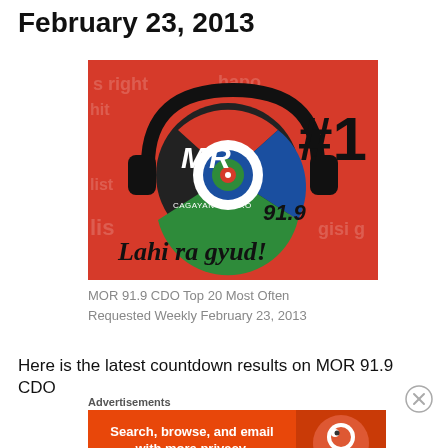February 23, 2013
[Figure (logo): MOR 91.9 Cagayan de Oro radio station logo with headphones and '#1 Lahi ra gyud!' text on red background]
MOR 91.9 CDO Top 20 Most Often Requested Weekly February 23, 2013
Here is the latest countdown results on MOR 91.9 CDO
Advertisements
[Figure (screenshot): DuckDuckGo advertisement banner: Search, browse, and email with more privacy. All in One Free App]